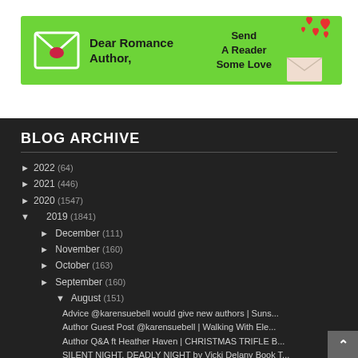[Figure (illustration): Green banner ad with envelope icon on left, text 'Dear Romance Author,' in center-left, and 'Send A Reader Some Love' text on right with heart illustrations]
BLOG ARCHIVE
► 2022 (64)
► 2021 (446)
► 2020 (1547)
▼ 2019 (1841)
► December (111)
► November (160)
► October (163)
► September (160)
▼ August (151)
Advice @karensuebell would give new authors | Suns...
Author Guest Post @karensuebell | Walking With Ele...
Author Q&A ft Heather Haven | CHRISTMAS TRIFLE B...
SILENT NIGHT, DEADLY NIGHT by Vicki Delany Book T...